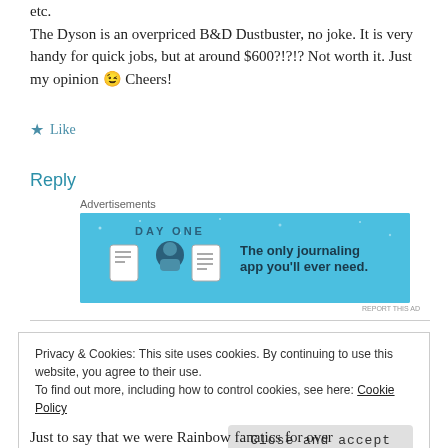etc.
The Dyson is an overpriced B&D Dustbuster, no joke. It is very handy for quick jobs, but at around $600?!?!? Not worth it. Just my opinion 😉 Cheers!
★ Like
Reply
[Figure (other): Advertisement banner for Day One journaling app with blue background, icons, and text 'The only journaling app you'll ever need.']
Privacy & Cookies: This site uses cookies. By continuing to use this website, you agree to their use.
To find out more, including how to control cookies, see here: Cookie Policy
Close and accept
Just to say that we were Rainbow fanatics for over